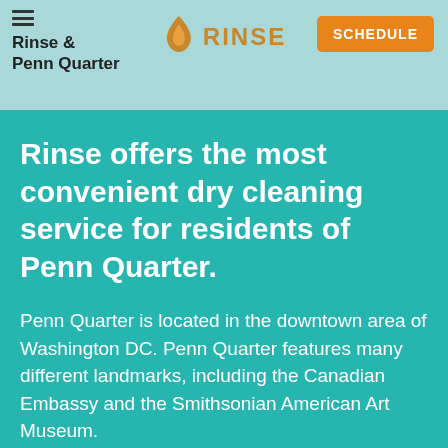Rinse & Penn Quarter
Rinse offers the most convenient dry cleaning service for residents of Penn Quarter.
Penn Quarter is located in the downtown area of Washington DC. Penn Quarter features many different landmarks, including the Canadian Embassy and the Smithsonian American Art Museum.